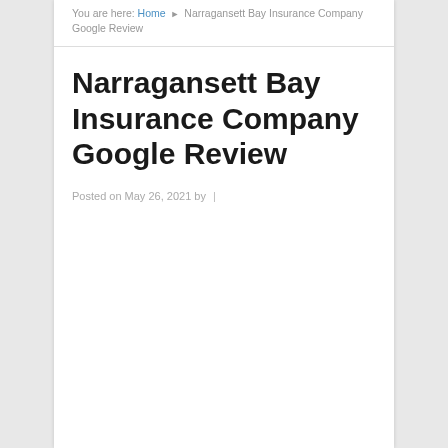You are here: Home ▶ Narragansett Bay Insurance Company Google Review
Narragansett Bay Insurance Company Google Review
Posted on May 26, 2021 by  |